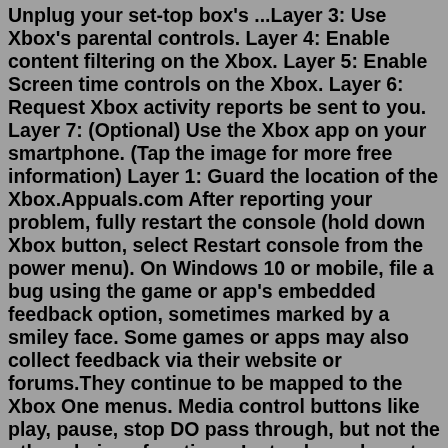Unplug your set-top box's ...Layer 3: Use Xbox's parental controls. Layer 4: Enable content filtering on the Xbox. Layer 5: Enable Screen time controls on the Xbox. Layer 6: Request Xbox activity reports be sent to you. Layer 7: (Optional) Use the Xbox app on your smartphone. (Tap the image for more free information) Layer 1: Guard the location of the Xbox.Appuals.com After reporting your problem, fully restart the console (hold down Xbox button, select Restart console from the power menu). On Windows 10 or mobile, file a bug using the game or app's embedded feedback option, sometimes marked by a smiley face. Some games or apps may also collect feedback via their website or forums.They continue to be mapped to the Xbox One menus. Media control buttons like play, pause, stop DO pass through, but not the other obvious functions. Instead, you have to manually change remote functions when you select the TV feed, then manually change them back when you switch back to Xbox mode.About this app. Download the My Spectrum App to manage your